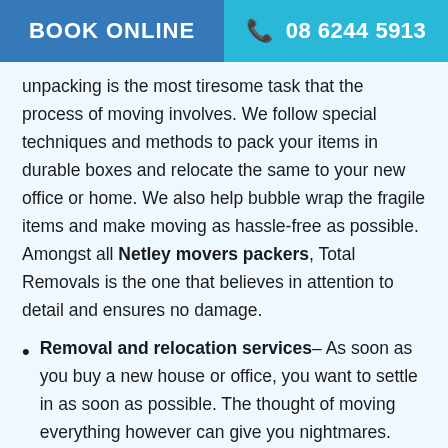BOOK ONLINE   08 6244 5913
unpacking is the most tiresome task that the process of moving involves. We follow special techniques and methods to pack your items in durable boxes and relocate the same to your new office or home. We also help bubble wrap the fragile items and make moving as hassle-free as possible. Amongst all Netley movers packers, Total Removals is the one that believes in attention to detail and ensures no damage.
Removal and relocation services– As soon as you buy a new house or office, you want to settle in as soon as possible. The thought of moving everything however can give you nightmares. Total Removals offer not just the best packaging